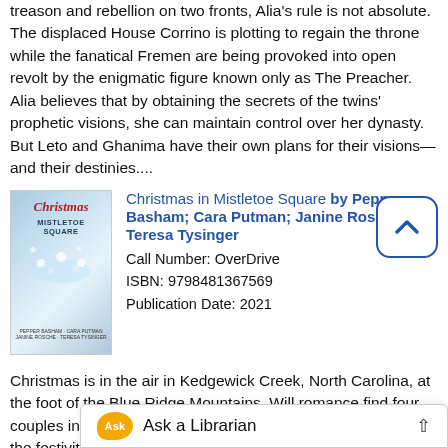treason and rebellion on two fronts, Alia's rule is not absolute. The displaced House Corrino is plotting to regain the throne while the fanatical Fremen are being provoked into open revolt by the enigmatic figure known only as The Preacher. Alia believes that by obtaining the secrets of the twins' prophetic visions, she can maintain control over her dynasty. But Leto and Ghanima have their own plans for their visions—and their destinies....
[Figure (illustration): Book cover for 'Christmas in Mistletoe Square' with a winter/Christmas theme, blue and white tones, red script title text]
Christmas in Mistletoe Square by Pepper Basham; Cara Putman; Janine Rosche, Teresa Tysinger
Call Number: OverDrive
ISBN: 9798481367569
Publication Date: 2021
Christmas is in the air in Kedgewick Creek, North Carolina, at the foot of the Blue Ridge Mountains. Will romance find four couples in the month of December or will the pressure to keep the festivities Mistletoe Square is known for keep these couples apart? Fi... from inspirational